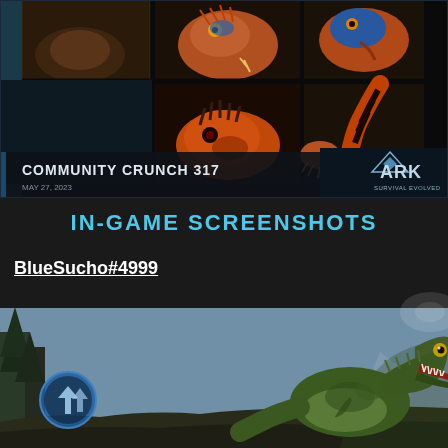[Figure (screenshot): ARK Survival Evolved Community Crunch 317 banner showing four photos of orange and brown creature figurines/taxidermy arranged in a 2x2 grid on dark background, with ARK logo bottom right and text 'COMMUNITY CRUNCH 317 MAY 27, 2023']
IN-GAME SCREENSHOTS
BlueSucho#4999
[Figure (screenshot): In-game screenshot from ARK Survival Evolved showing a large green dinosaur (T-Rex) with open mouth facing right, with trees and mountains in the background, a blue circular HUD element visible on the left side]